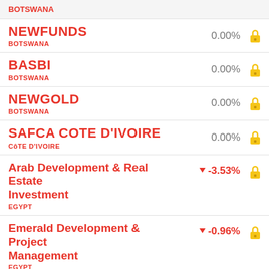BOTSWANA
NEWFUNDS | BOTSWANA | 0.00%
BASBI | BOTSWANA | 0.00%
NEWGOLD | BOTSWANA | 0.00%
SAFCA COTE D'IVOIRE | CÔTE D'IVOIRE | 0.00%
Arab Development & Real Estate Investment | EGYPT | -3.53%
Emerald Development & Project Management | EGYPT | -0.96%
First Investment Company And Real Estate Development | EGYPT | -9.97%